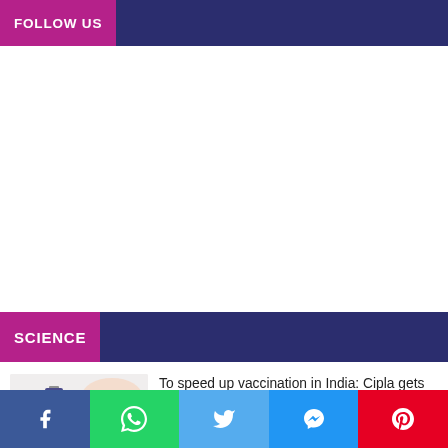FOLLOW US
SCIENCE
[Figure (photo): Cipla vaccine image — a vial and syringe with a hand, Cipla logo visible in the lower left]
To speed up vaccination in India: Cipla gets nod to import Moderna's Covid vaccine for emergency use
June 28, 2021
[Figure (infographic): Social sharing bar with Facebook, WhatsApp, Twitter, Messenger, and Pinterest buttons]